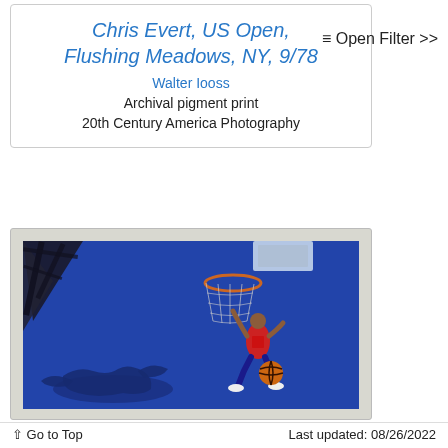Chris Evert, US Open, Flushing Meadows, NY, 9/78
Walter Iooss
Archival pigment print
20th Century America Photography
≡ Open Filter >>
[Figure (photo): Framed photograph of a basketball player dunking, shot from above showing the hoop, a player leaping toward the basket with a basketball, and shadows on a blue court surface.]
↑ Go to Top    Last updated: 08/26/2022